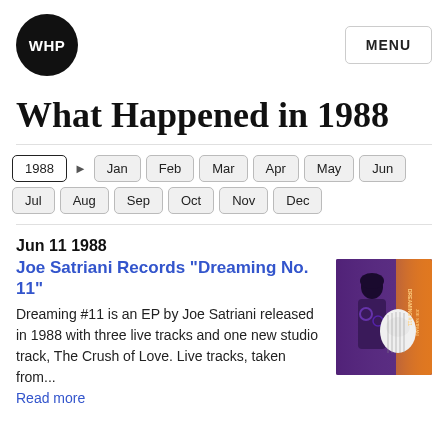[Figure (logo): WHP circular logo, white text on black circle]
MENU
What Happened in 1988
1988 ▶ Jan Feb Mar Apr May Jun Jul Aug Sep Oct Nov Dec
Jun 11 1988
Joe Satriani Records "Dreaming No. 11"
Dreaming #11 is an EP by Joe Satriani released in 1988 with three live tracks and one new studio track, The Crush of Love. Live tracks, taken from...
Read more
[Figure (photo): Album cover for Joe Satriani Dreaming No. 11, showing man with guitar on purple/orange background]